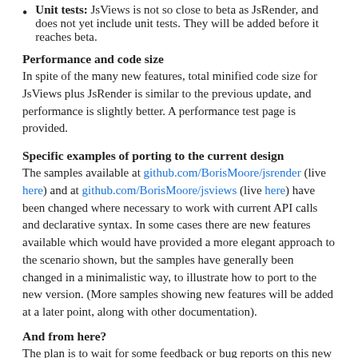Unit tests: JsViews is not so close to beta as JsRender, and does not yet include unit tests. They will be added before it reaches beta.
Performance and code size
In spite of the many new features, total minified code size for JsViews plus JsRender is similar to the previous update, and performance is slightly better. A performance test page is provided.
Specific examples of porting to the current design
The samples available at github.com/BorisMoore/jsrender (live here) and at github.com/BorisMoore/jsviews (live here) have been changed where necessary to work with current API calls and declarative syntax. In some cases there are new features available which would have provided a more elegant approach to the scenario shown, but the samples have generally been changed in a minimalistic way, to illustrate how to port to the new version. (More samples showing new features will be added at a later point, along with other documentation).
And from here?
The plan is to wait for some feedback or bug reports on this new update, before deciding whether to label this version of JsRender as the official beta. Once it has become beta, I hope to progressively add additional